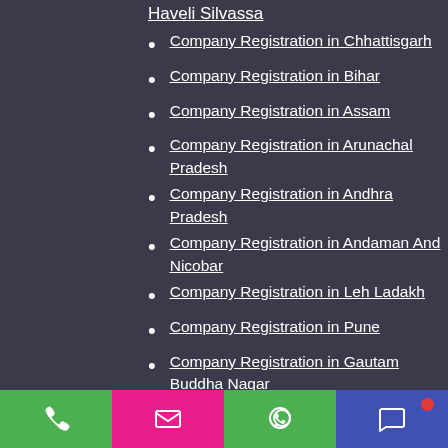Haveli Silvassa
Company Registration in Chhattisgarh
Company Registration in Bihar
Company Registration in Assam
Company Registration in Arunachal Pradesh
Company Registration in Andhra Pradesh
Company Registration in Andaman And Nicobar
Company Registration in Leh Ladakh
Company Registration in Pune
Company Registration in Gautam Buddha Nagar
Company Registration in Gandhinagar
Company Registration in Andaman